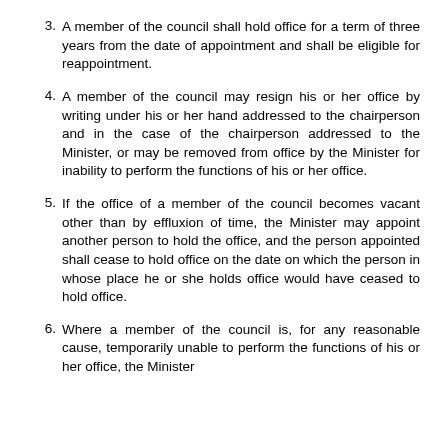3. A member of the council shall hold office for a term of three years from the date of appointment and shall be eligible for reappointment.
4. A member of the council may resign his or her office by writing under his or her hand addressed to the chairperson and in the case of the chairperson addressed to the Minister, or may be removed from office by the Minister for inability to perform the functions of his or her office.
5. If the office of a member of the council becomes vacant other than by effluxion of time, the Minister may appoint another person to hold the office, and the person appointed shall cease to hold office on the date on which the person in whose place he or she holds office would have ceased to hold office.
6. Where a member of the council is, for any reasonable cause, temporarily unable to perform the functions of his or her office, the Minister